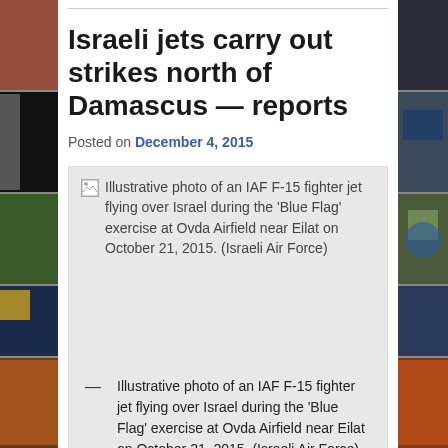Israeli jets carry out strikes north of Damascus — reports
Posted on December 4, 2015
[Figure (photo): Illustrative photo of an IAF F-15 fighter jet flying over Israel during the 'Blue Flag' exercise at Ovda Airfield near Eilat on October 21, 2015. (Israeli Air Force)]
Illustrative photo of an IAF F-15 fighter jet flying over Israel during the 'Blue Flag' exercise at Ovda Airfield near Eilat on October 21, 2015. (Israeli Air Force)